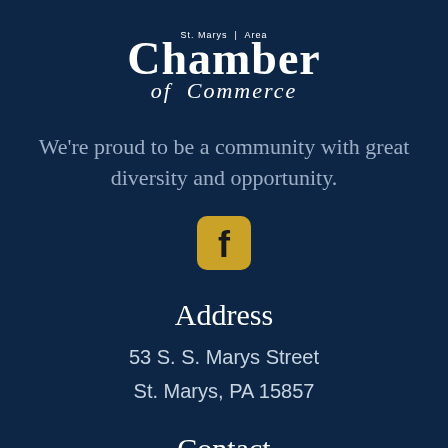[Figure (logo): St. Marys Area Chamber of Commerce logo with stylized text on dark navy background]
We're proud to be a community with great diversity and opportunity.
[Figure (illustration): Facebook social media icon — rounded square with white f letter on gold/amber background]
Address
53 S. S. Marys Street
St. Marys, PA 15857
Contact